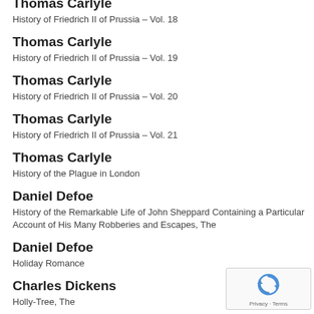Thomas Carlyle
History of Friedrich II of Prussia – Vol. 18
Thomas Carlyle
History of Friedrich II of Prussia – Vol. 19
Thomas Carlyle
History of Friedrich II of Prussia – Vol. 20
Thomas Carlyle
History of Friedrich II of Prussia – Vol. 21
Thomas Carlyle
History of the Plague in London
Daniel Defoe
History of the Remarkable Life of John Sheppard Containing a Particular Account of His Many Robberies and Escapes, The
Daniel Defoe
Holiday Romance
Charles Dickens
Holly-Tree, The
Charles Dickens
Horse-Stealers and Other Stories, The
Anton Pavlovich Chekhov